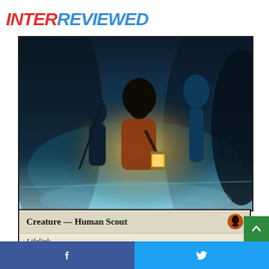INTERREVIEWED
[Figure (illustration): Magic: The Gathering card art showing scouts/figures in a dark cave lit by a lantern, teal and blue color palette]
Creature — Human Scout
Lifelink
When Intrepid Adversary enters the battlefield, you may pay 1W any number of times. When you pay this cost one or more times, put that many valor counters on Intrepid Adversary.
Creatures you control get +1/+1 for each valor counter on Intrepid Adversary.
Facebook share | Twitter share